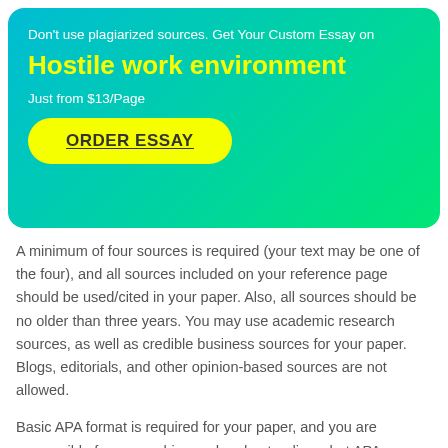Don't use plagiarized sources. Get Your Custom Essay on
Hostile work environment
Just from $13/Page
ORDER ESSAY
A minimum of four sources is required (your text may be one of the four), and all sources included on your reference page should be used/cited in your paper. Also, all sources should be no older than three years. You may use academic research sources, as well as credible business sources for your paper. Blogs, editorials, and other opinion-based sources are not allowed.
Basic APA format is required for your paper, and you are responsible for researching and understanding what APA